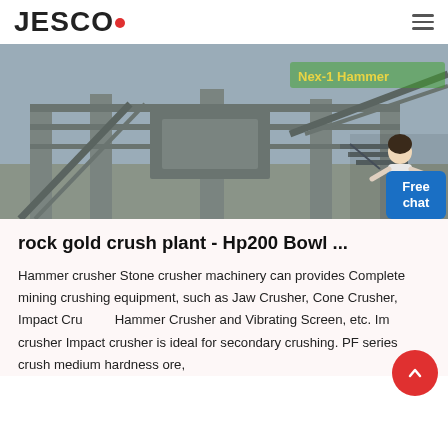JESCO
[Figure (photo): Industrial rock crushing plant / mining facility with conveyor belts, steel structures, and concrete pillars. Green overlay text partially visible at top reading 'Nex-1 Hammer'. A customer service representative figure and 'Free chat' button overlay in the bottom-right corner.]
rock gold crush plant - Hp200 Bowl ...
Hammer crusher Stone crusher machinery can provides Complete mining crushing equipment, such as Jaw Crusher, Cone Crusher, Impact Crusher, Hammer Crusher and Vibrating Screen, etc. Impact crusher Impact crusher is ideal for secondary crushing. PF series crush medium hardness ore,